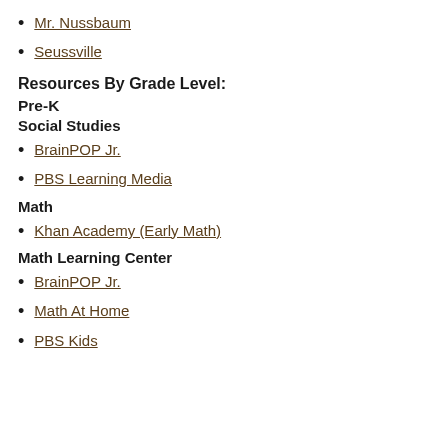Mr. Nussbaum
Seussville
Resources By Grade Level:
Pre-K
Social Studies
BrainPOP Jr.
PBS Learning Media
Math
Khan Academy (Early Math)
Math Learning Center
BrainPOP Jr.
Math At Home
PBS Kids